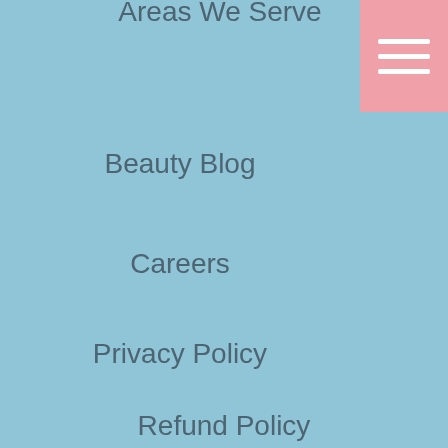Areas We Serve
[Figure (other): Pink hamburger menu button with three white horizontal lines]
Beauty Blog
Careers
Privacy Policy
Refund Policy
Shipping Policy